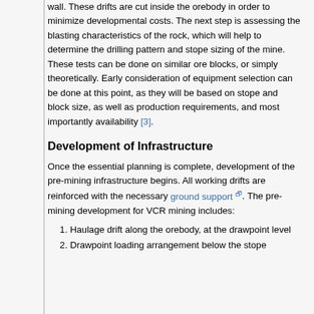wall.  These drifts are cut inside the orebody in order to minimize developmental costs.  The next step is assessing the blasting characteristics of the rock, which will help to determine the drilling pattern and stope sizing of the mine.  These tests can be done on similar ore blocks, or simply theoretically.  Early consideration of equipment selection can be done at this point, as they will be based on stope and block size, as well as production requirements, and most importantly availability [3].
Development of Infrastructure
Once the essential planning is complete, development of the pre-mining infrastructure begins. All working drifts are reinforced with the necessary ground support. The pre-mining development for VCR mining includes:
Haulage drift along the orebody, at the drawpoint level
Drawpoint loading arrangement below the stope